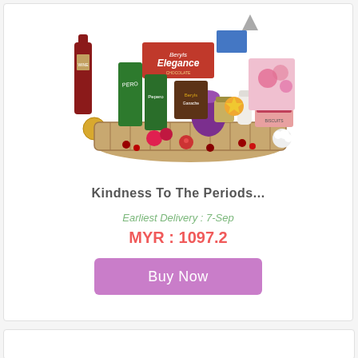[Figure (photo): A gift hamper basket filled with various items including wine bottle, Ferrero Rocher chocolates, Beryls Elegance chocolate box, Pepero snack boxes, and other assorted food gifts arranged decoratively.]
Kindness To The Periods...
Earliest Delivery : 7-Sep
MYR : 1097.2
Buy Now